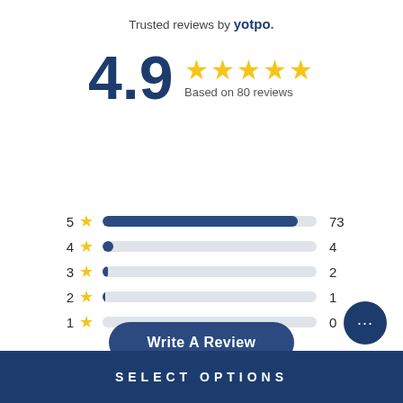Trusted reviews by yotpo.
[Figure (infographic): Rating summary showing 4.9 out of 5 stars based on 80 reviews, with a bar chart breakdown: 5 stars = 73, 4 stars = 4, 3 stars = 2, 2 stars = 1, 1 star = 0]
Write A Review
SELECT OPTIONS